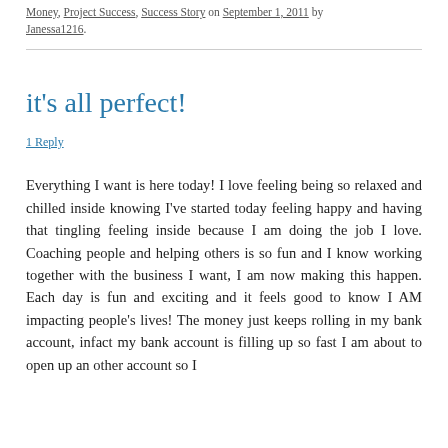Money, Project Success, Success Story on September 1, 2011 by Janessa1216.
it's all perfect!
1 Reply
Everything I want is here today! I love feeling being so relaxed and chilled inside knowing I've started today feeling happy and having that tingling feeling inside because I am doing the job I love. Coaching people and helping others is so fun and I know working together with the business I want, I am now making this happen. Each day is fun and exciting and it feels good to know I AM impacting people's lives! The money just keeps rolling in my bank account, infact my bank account is filling up so fast I am about to open up an other account so I